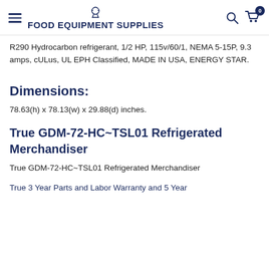FOOD EQUIPMENT SUPPLIES
R290 Hydrocarbon refrigerant, 1/2 HP, 115v/60/1, NEMA 5-15P, 9.3 amps, cULus, UL EPH Classified, MADE IN USA, ENERGY STAR.
Dimensions:
78.63(h) x 78.13(w) x 29.88(d) inches.
True GDM-72-HC~TSL01 Refrigerated Merchandiser
True GDM-72-HC~TSL01 Refrigerated Merchandiser
True 3 Year Parts and Labor Warranty and 5 Year